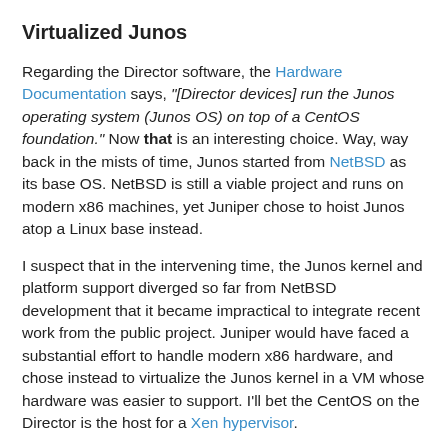Virtualized Junos
Regarding the Director software, the Hardware Documentation says, "[Director devices] run the Junos operating system (Junos OS) on top of a CentOS foundation." Now that is an interesting choice. Way, way back in the mists of time, Junos started from NetBSD as its base OS. NetBSD is still a viable project and runs on modern x86 machines, yet Juniper chose to hoist Junos atop a Linux base instead.
I suspect that in the intervening time, the Junos kernel and platform support diverged so far from NetBSD development that it became impractical to integrate recent work from the public project. Juniper would have faced a substantial effort to handle modern x86 hardware, and chose instead to virtualize the Junos kernel in a VM whose hardware was easier to support. I'll bet the CentOS on the Director is the host for a Xen hypervisor.